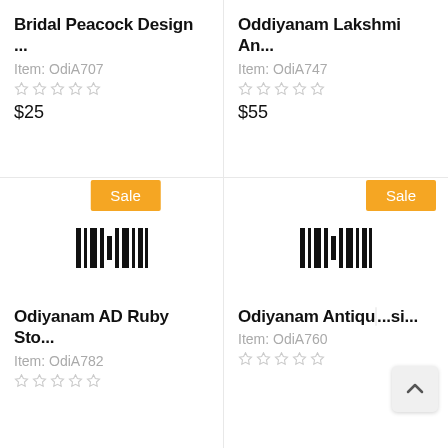Bridal Peacock Design ...
Item: OdiA707
$25
Oddiyanam Lakshmi An...
Item: OdiA747
$55
[Figure (other): Sale badge orange button]
[Figure (other): Barcode/audio waveform icon]
Odiyanam AD Ruby Sto...
Item: OdiA782
[Figure (other): Sale badge orange button]
[Figure (other): Barcode/audio waveform icon]
Odiyanam Antiqu...si...
Item: OdiA760